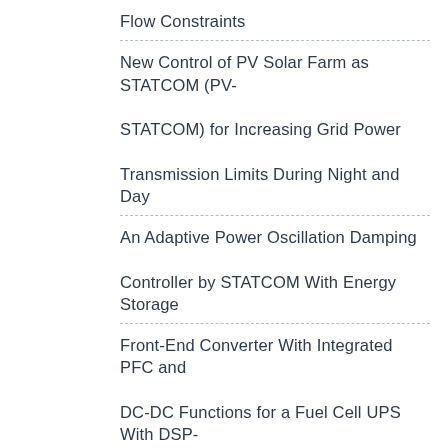Flow Constraints
New Control of PV Solar Farm as STATCOM (PV-STATCOM) for Increasing Grid Power Transmission Limits During Night and Day
An Adaptive Power Oscillation Damping Controller by STATCOM With Energy Storage
Front-End Converter With Integrated PFC and DC-DC Functions for a Fuel Cell UPS With DSP-Based Control
Offline Soft-Switched LED Driver Based on an Integrated Bridgeless Boost◆Asymmetrical Half-